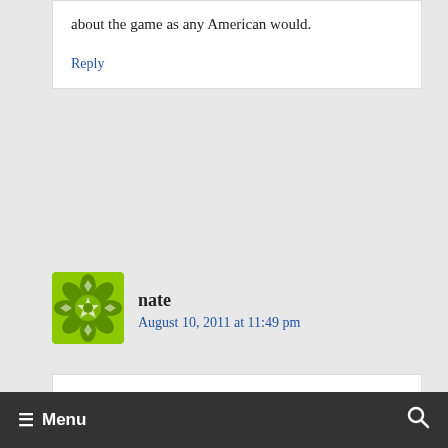about the game as any American would.
Reply
[Figure (illustration): Green decorative avatar icon for user nate]
nate
August 10, 2011 at 11:49 pm
“the agreement marks the first time four MLS matches will be broadcast on English language channel television since 2002”
≡ Menu